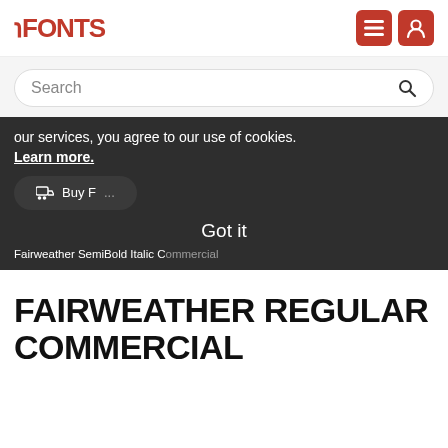FFONTS
Search
our services, you agree to our use of cookies. Learn more.
Buy F...
Got it
Fairweather SemiBold Italic Commercial
FAIRWEATHER REGULAR COMMERCIAL